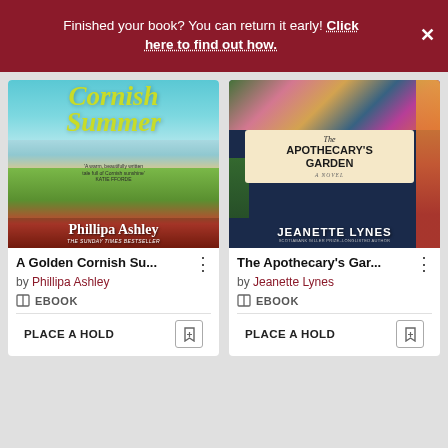Finished your book? You can return it early! Click here to find out how. ✕
[Figure (illustration): Book cover: Cornish Summer by Phillipa Ashley — illustrated coastal scene with woman in meadow, lighthouse, teal sky. Title in yellow-green italic script. Author name and 'The Sunday Times Bestseller' at bottom.]
[Figure (illustration): Book cover: The Apothecary's Garden by Jeanette Lynes — dark navy background with floral botanical arrangement, cream label sign with title text, author name at bottom in white bold letters.]
A Golden Cornish Su...
by Phillipa Ashley
EBOOK
PLACE A HOLD
The Apothecary's Gar...
by Jeanette Lynes
EBOOK
PLACE A HOLD